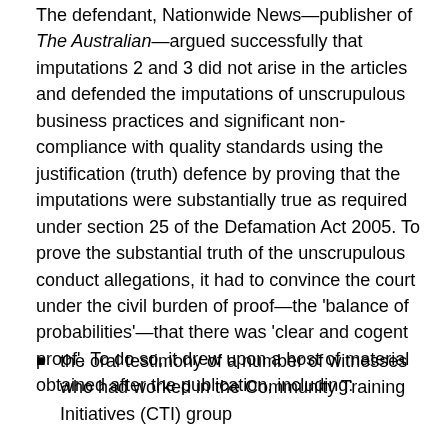The defendant, Nationwide News—publisher of The Australian—argued successfully that imputations 2 and 3 did not arise in the articles and defended the imputations of unscrupulous business practices and significant non-compliance with quality standards using the justification (truth) defence by proving that the imputations were substantially true as required under section 25 of the Defamation Act 2005. To prove the substantial truth of the unscrupulous conduct allegations, it had to convince the court under the civil burden of proof—the 'balance of probabilities'—that there was 'clear and cogent proof'. To do so, it drew upon a host of material obtained after the publication, including:
the oral testimony of a number of witnesses who had worked in the Community Training Initiatives (CTI) group